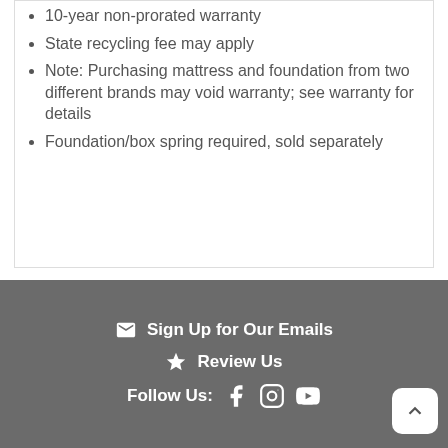10-year non-prorated warranty
State recycling fee may apply
Note: Purchasing mattress and foundation from two different brands may void warranty; see warranty for details
Foundation/box spring required, sold separately
Sign Up for Our Emails  Review Us  Follow Us: [Facebook] [Instagram] [YouTube]